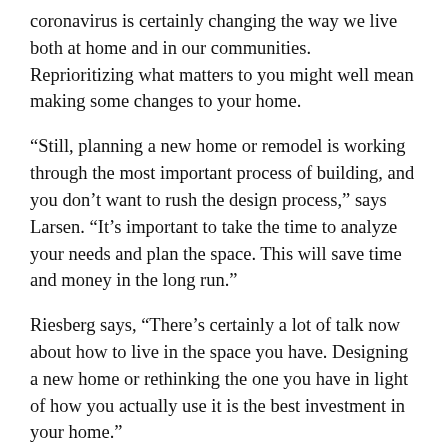coronavirus is certainly changing the way we live both at home and in our communities. Reprioritizing what matters to you might well mean making some changes to your home.
“Still, planning a new home or remodel is working through the most important process of building, and you don’t want to rush the design process,” says Larsen. “It’s important to take the time to analyze your needs and plan the space. This will save time and money in the long run.”
Riesberg says, “There’s certainly a lot of talk now about how to live in the space you have. Designing a new home or rethinking the one you have in light of how you actually use it is the best investment in your home.”
It might be a curse if the gods give you everything you ask for, but if your home can meet all your needs, that’s actually a real blessing.